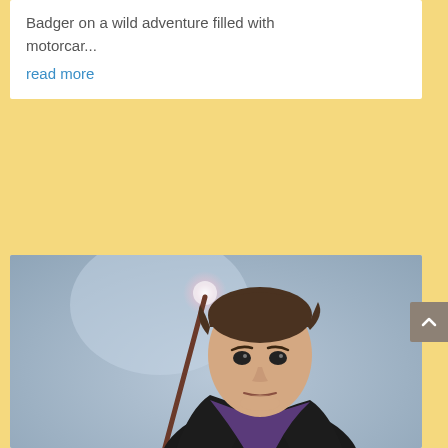Badger on a wild adventure filled with motorcar...
read more
[Figure (photo): A man in a dark jacket and purple shirt holding a wand with a glowing tip, posed against a grey-blue background]
Press Release | The Tempest